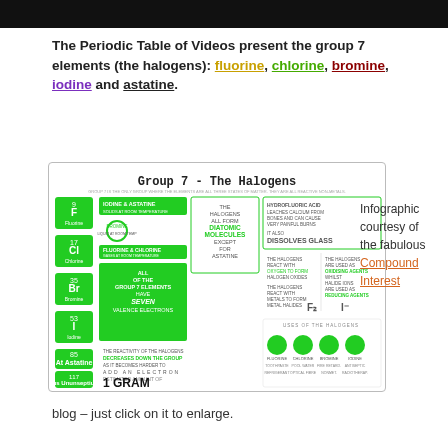The Periodic Table of Videos present the group 7 elements (the halogens): fluorine, chlorine, bromine, iodine and astatine.
[Figure (infographic): Infographic titled 'Group 7 - The Halogens' showing periodic table element tiles for F, Cl, Br, I, At, Uus with facts about halogens including diatomic molecules, hydrofluoric acid, oxidising/reducing agents, reactivity, and uses.]
Infographic courtesy of the fabulous Compound Interest blog – just click on it to enlarge.